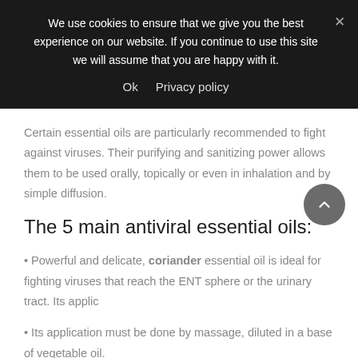We use cookies to ensure that we give you the best experience on our website. If you continue to use this site we will assume that you are happy with it.
Ok   Privacy policy
Certain essential oils are particularly recommended to fight against viruses. Their purifying and sanitizing power allows them to be used orally, topically or even in inhalation and by simple diffusion.
The 5 main antiviral essential oils:
• Powerful and delicate, coriander essential oil is ideal for fighting viruses that reach the ENT sphere or the urinary tract. Its applic
• Its application must be done by massage, diluted in a base of vegetable oil.